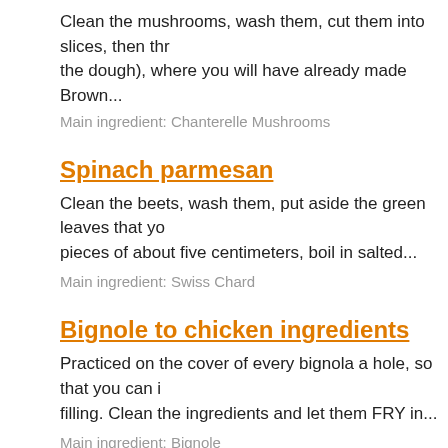Clean the mushrooms, wash them, cut them into slices, then thr the dough), where you will have already made Brown...
Main ingredient: Chanterelle Mushrooms
Spinach parmesan
Clean the beets, wash them, put aside the green leaves that yo pieces of about five centimeters, boil in salted...
Main ingredient: Swiss Chard
Bignole to chicken ingredients
Practiced on the cover of every bignola a hole, so that you can i filling. Clean the ingredients and let them FRY in...
Main ingredient: Bignole
Cheese beignets
Place the ricotta in a bowl and knead dough with a fork. Then ac ground pepper and transfer the mixture into a syringe...
Main ingredient: Cream Puffs